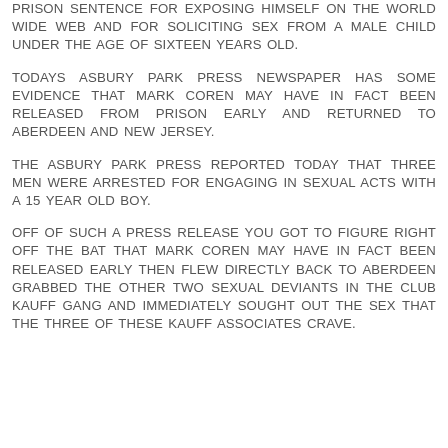PRISON SENTENCE FOR EXPOSING HIMSELF ON THE WORLD WIDE WEB AND FOR SOLICITING SEX FROM A MALE CHILD UNDER THE AGE OF SIXTEEN YEARS OLD.
TODAYS ASBURY PARK PRESS NEWSPAPER HAS SOME EVIDENCE THAT MARK COREN MAY HAVE IN FACT BEEN RELEASED FROM PRISON EARLY AND RETURNED TO ABERDEEN AND NEW JERSEY.
THE ASBURY PARK PRESS REPORTED TODAY THAT THREE MEN WERE ARRESTED FOR ENGAGING IN SEXUAL ACTS WITH A 15 YEAR OLD BOY.
OFF OF SUCH A PRESS RELEASE YOU GOT TO FIGURE RIGHT OFF THE BAT THAT MARK COREN MAY HAVE IN FACT BEEN RELEASED EARLY THEN FLEW DIRECTLY BACK TO ABERDEEN GRABBED THE OTHER TWO SEXUAL DEVIANTS IN THE CLUB KAUFF GANG AND IMMEDIATELY SOUGHT OUT THE SEX THAT THE THREE OF THESE KAUFF ASSOCIATES CRAVE.